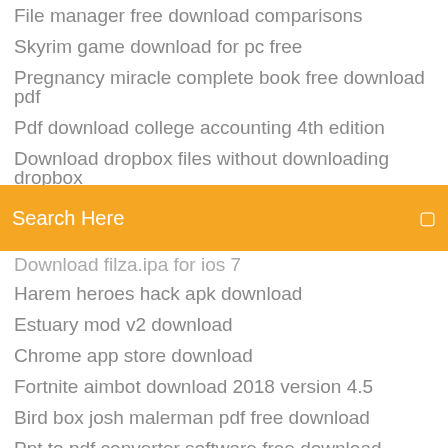File manager free download comparisons
Skyrim game download for pc free
Pregnancy miracle complete book free download pdf
Pdf download college accounting 4th edition
Download dropbox files without downloading dropbox
Cobra browser ps3 download
Search Here
Download filza.ipa for ios 7
Harem heroes hack apk download
Estuary mod v2 download
Chrome app store download
Fortnite aimbot download 2018 version 4.5
Bird box josh malerman pdf free download
Ppt to pdf converter software free download
App de download do youtube
Buffalo ministation air hdw-pdu3 how to download files
Alc 888s chipset driver download
Download online pdf as editable file